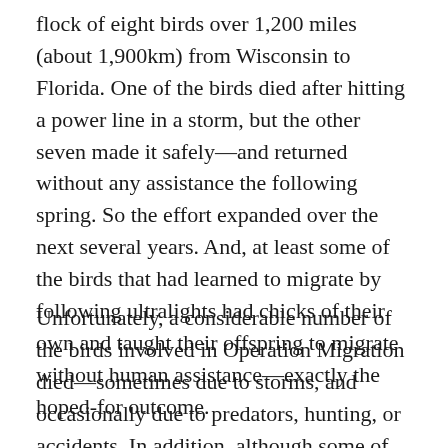flock of eight birds over 1,200 miles (about 1,900km) from Wisconsin to Florida. One of the birds died after hitting a power line in a storm, but the other seven made it safely—and returned without any assistance the following spring. So the effort expanded over the next several years. And, at least some of the birds that had learned to migrate by following ultralights had chicks of their own and taught their offspring to migrate without human assistance—exactly the hoped-for outcome.
Unfortunately, a considerable number of the birds involved in Operation Migration died—sometimes due to storms, and occasionally due to predators, hunting, or accidents. In addition, although some of the human-raised birds did go on to have chicks, the overall reproduction rate was quite low, and even when chicks were born, most of them didn't live long